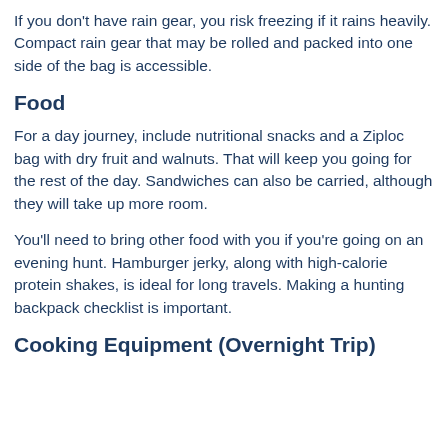If you don't have rain gear, you risk freezing if it rains heavily. Compact rain gear that may be rolled and packed into one side of the bag is accessible.
Food
For a day journey, include nutritional snacks and a Ziploc bag with dry fruit and walnuts. That will keep you going for the rest of the day. Sandwiches can also be carried, although they will take up more room.
You'll need to bring other food with you if you're going on an evening hunt. Hamburger jerky, along with high-calorie protein shakes, is ideal for long travels. Making a hunting backpack checklist is important.
Cooking Equipment (Overnight Trip)